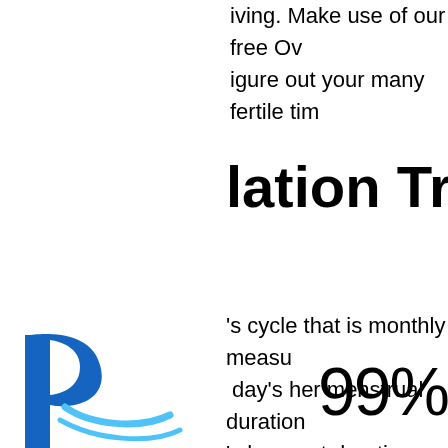iving. Make use of our free Ov igure out your many fertile tim
lation Trac
[Figure (logo): Blue stylized letter R logo with curved swoosh lines]
's cycle that is monthly measu day's her menstrual duration 's her next duration. An avera period is between 28-32 times might have much smaller or lo men ovulate ranging from Da riod, counting through the da ion (LMP). ItвЂ™s this that m due to the fact time that isвЂн period because sexual activity scalates the possibility of mat happen at any point in this w
99%